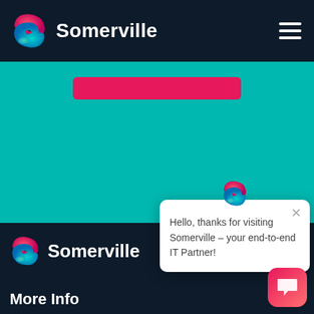[Figure (screenshot): Somerville website screenshot showing navigation bar with logo and hamburger menu, teal hero section with pink button, dark footer section with logo and 'More Info' text, and a chat popup overlay saying 'Hello, thanks for visiting Somerville – your end-to-end IT Partner!']
Somerville
[Figure (logo): Somerville S-shaped colorful logo (red, pink, blue, green gradient)]
Hello, thanks for visiting Somerville – your end-to-end IT Partner!
Somerville
More Info